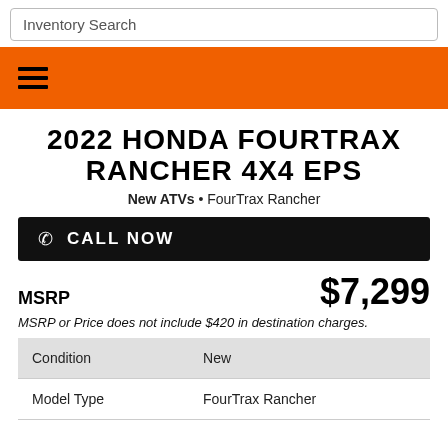Inventory Search
2022 HONDA FOURTRAX RANCHER 4X4 EPS
New ATVs • FourTrax Rancher
CALL NOW
MSRP $7,299
MSRP or Price does not include $420 in destination charges.
|  |  |
| --- | --- |
| Condition | New |
| Model Type | FourTrax Rancher |